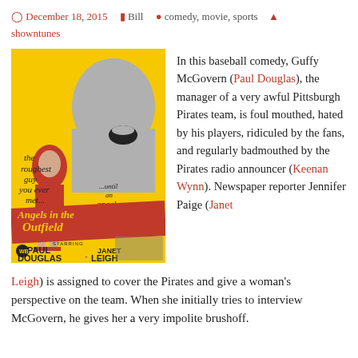December 18, 2015  Bill  comedy, movie, sports  showntunes
[Figure (photo): Movie poster for 'Angels in the Outfield' (1951) featuring Paul Douglas and Janet Leigh on a yellow background]
In this baseball comedy, Guffy McGovern (Paul Douglas), the manager of a very awful Pittsburgh Pirates team, is foul mouthed, hated by his players, ridiculed by the fans, and regularly badmouthed by the Pirates radio announcer (Keenan Wynn). Newspaper reporter Jennifer Paige (Janet Leigh) is assigned to cover the Pirates and give a woman's perspective on the team. When she initially tries to interview McGovern, he gives her a very impolite brushoff.